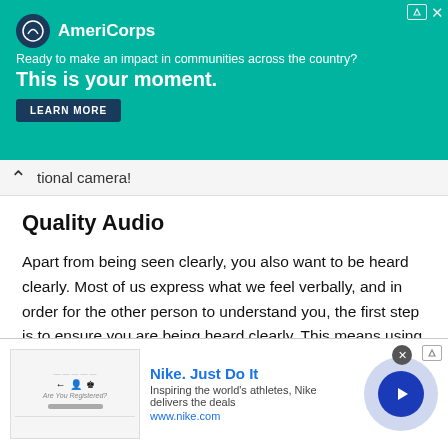[Figure (screenshot): AmeriCorps advertisement banner with teal background. Shows AmeriCorps logo and text: 'Ready to make an impact in communities across the country? This is your moment.' with a LEARN MORE button. Photo of a person on right side.]
tional camera!
Quality Audio
Apart from being seen clearly, you also want to be heard clearly. Most of us express what we feel verbally, and in order for the other person to understand you, the first step is to ensure you are being heard clearly. This means using your device's built- in microphone is not an option!
Get your hands on a quality microphone. Make sure you
[Figure (screenshot): Nike advertisement banner. Shows Nike logo area, text 'Nike. Just Do It', subtitle 'Inspiring the world's athletes, Nike delivers the deals', url 'www.nike.com', and a blue circular play button on light purple background.]